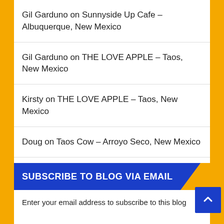Gil Garduno on Sunnyside Up Cafe – Albuquerque, New Mexico
Gil Garduno on THE LOVE APPLE – Taos, New Mexico
Kirsty on THE LOVE APPLE – Taos, New Mexico
Doug on Taos Cow – Arroyo Seco, New Mexico
Lynn G on Havana Restaurant – Albuquerque, New Mexico
SUBSCRIBE TO BLOG VIA EMAIL
Enter your email address to subscribe to this blog